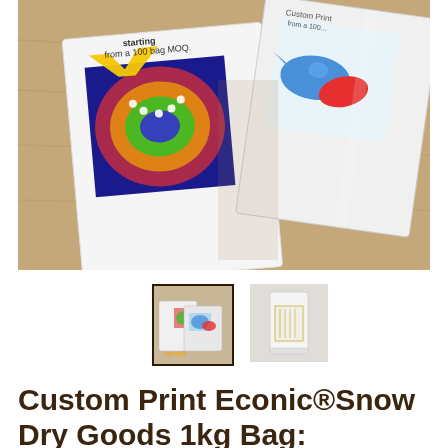[Figure (photo): Product photo showing two white custom-printed flat bags on a wooden surface. The left bag features a colorful tie-dye spiral print with a yellow checkmark/arrow logo and text 'starting from a 100 bag MOQ'. The right bag shows a blue and red bird/fish graphic. Both bags appear to be white paper/poly flat bags.]
[Figure (photo): Thumbnail 1 (selected, with border): Small image showing the same product bags overlapping, colorful prints visible, selected state indicated by dark border.]
[Figure (photo): Thumbnail 2 (unselected): Small image showing a single white bag standing upright with gold/yellow label details on the side.]
Custom Print Econic®Snow Dry Goods 1kg Bag: SAMPLE PACK